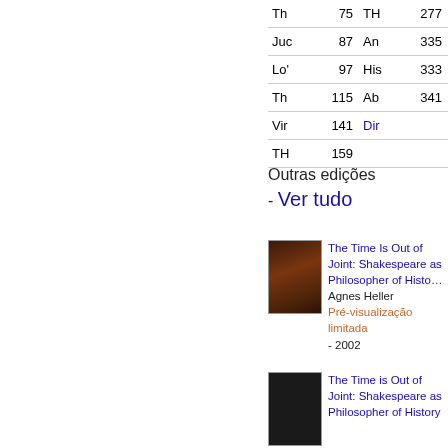| Th | 75 | TH | 277 |
| Juc | 87 | An | 335 |
| Lo' | 97 | His | 333 |
| Th | 115 | Ab | 341 |
| Vir | 141 | Dir |  |
| TH | 159 |  |  |
Outras edições - Ver tudo
[Figure (photo): Book cover thumbnail for The Time Is Out of Joint: Shakespeare as Philosopher of History]
The Time Is Out of Joint: Shakespeare as Philosopher of History Agnes Heller Pré-visualização limitada - 2002
[Figure (photo): Book cover thumbnail for The Time is Out of Joint: Shakespeare as Philosopher of History (dark cover)]
The Time is Out of Joint: Shakespeare as Philosopher of History